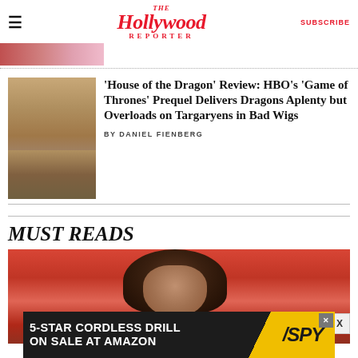The Hollywood Reporter | SUBSCRIBE
[Figure (photo): Partial thumbnail image strip at top left, cropped figures visible]
'House of the Dragon' Review: HBO's 'Game of Thrones' Prequel Delivers Dragons Aplenty but Overloads on Targaryens in Bad Wigs
BY DANIEL FIENBERG
[Figure (photo): Thumbnail photo of a blonde-haired character in medieval costume from House of the Dragon]
MUST READS
[Figure (photo): Large cropped photo of a woman with dark hair and dramatic eye makeup against a red background]
[Figure (other): Advertisement banner: 5-STAR CORDLESS DRILL ON SALE AT AMAZON with SPY logo on yellow background]